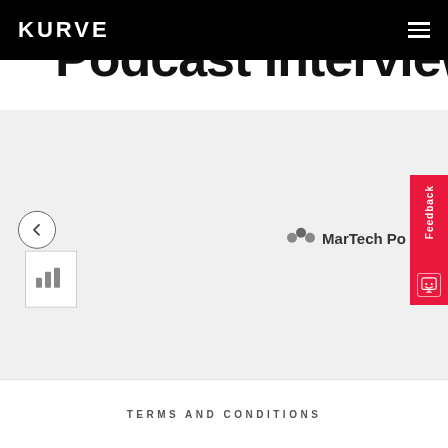KURVE
Podcast Interviews
[Figure (screenshot): Carousel section showing a podcast card on the left with a navigation arrow button, and a MarTech Podcast logo on the right, on a light grey background.]
[Figure (other): Red vertical Feedback button with smiley face icon on the right side of the page]
TERMS AND CONDITIONS